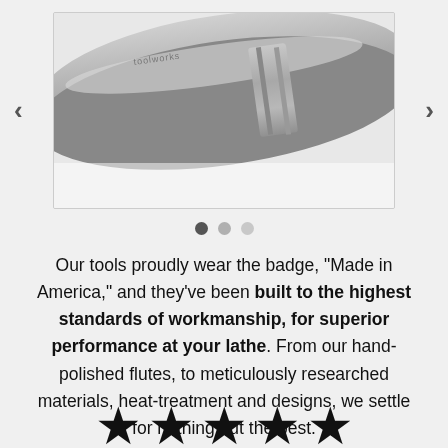[Figure (photo): Close-up photo of a metallic lathe tool or turning tool with cylindrical shank, showing toolworks branding text, photographed on white background]
Our tools proudly wear the badge, "Made in America," and they've been built to the highest standards of workmanship, for superior performance at your lathe. From our hand-polished flutes, to meticulously researched materials, heat-treatment and designs, we settle for nothing but the best.
[Figure (infographic): Five black stars rating display at bottom of page]